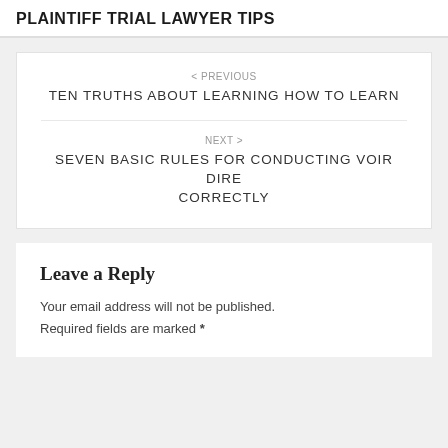PLAINTIFF TRIAL LAWYER TIPS
< PREVIOUS
TEN TRUTHS ABOUT LEARNING HOW TO LEARN
NEXT >
SEVEN BASIC RULES FOR CONDUCTING VOIR DIRE CORRECTLY
Leave a Reply
Your email address will not be published.
Required fields are marked *